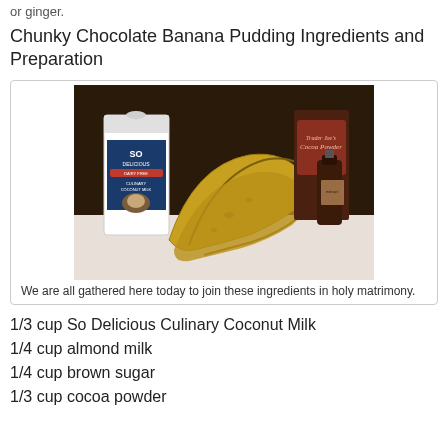or ginger.
Chunky Chocolate Banana Pudding Ingredients and Preparation
[Figure (photo): Photo of recipe ingredients on a counter: a carton of So Delicious Culinary Coconut Milk (dairy-free), two ripe bananas, a Trader Joe's cocoa powder box, and a small bottle of extract.]
We are all gathered here today to join these ingredients in holy matrimony.
1/3 cup So Delicious Culinary Coconut Milk
1/4 cup almond milk
1/4 cup brown sugar
1/3 cup cocoa powder